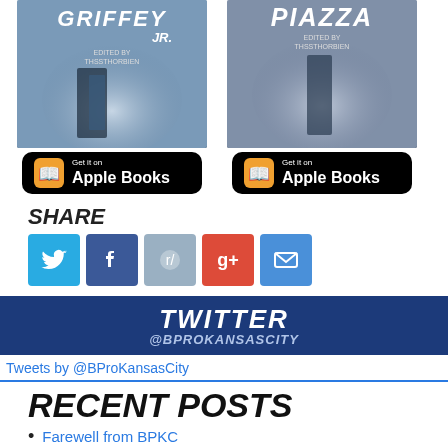[Figure (illustration): Two book covers side by side: 'Griffey Jr.' on the left and 'Piazza' on the right, each with an Apple Books download button below]
SHARE
[Figure (infographic): Share buttons for Twitter, Facebook, Reddit, Google+, and Email]
[Figure (infographic): Twitter header banner showing TWITTER @BPROKANSASCITY on dark blue background]
Tweets by @BProKansasCity
RECENT POSTS
Farewell from BPKC
Friday Notes